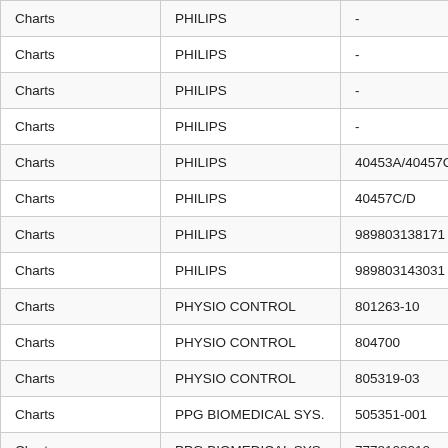| Charts | PHILIPS | - |
| Charts | PHILIPS | - |
| Charts | PHILIPS | - |
| Charts | PHILIPS | - |
| Charts | PHILIPS | 40453A/40457C |
| Charts | PHILIPS | 40457C/D |
| Charts | PHILIPS | 989803138171 |
| Charts | PHILIPS | 989803143031 |
| Charts | PHYSIO CONTROL | 801263-10 |
| Charts | PHYSIO CONTROL | 804700 |
| Charts | PHYSIO CONTROL | 805319-03 |
| Charts | PPG BIOMEDICAL SYS. | 505351-001 |
| Charts | PPG BIOMEDICAL SYS. | 7778108012 |
| Charts | PROCETTI |  |